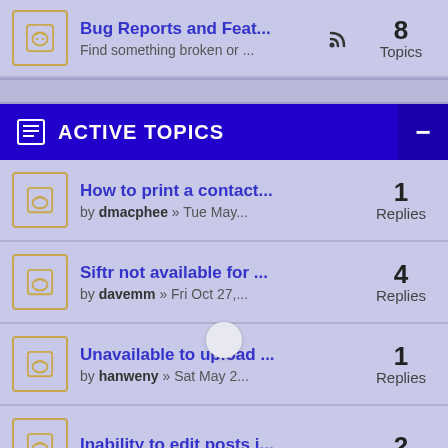Bug Reports and Feat... Find something broken or ... 8 Topics
ACTIVE TOPICS
How to print a contact... by dmacphee » Tue May... 1 Replies
Siftr not available for ... by davemm » Fri Oct 27,... 4 Replies
Unavailable to upload ... by hanweny » Sat May 2... 1 Replies
Inability to edit posts i... 2